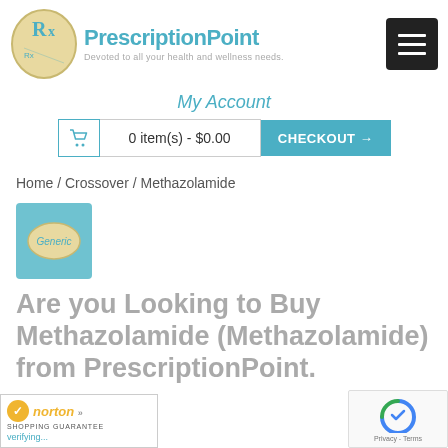[Figure (logo): PrescriptionPoint logo with RX oval icon and tagline 'Devoted to all your health and wellness needs.']
[Figure (other): Hamburger menu button (black square with three white lines)]
My Account
0 item(s) - $0.00   CHECKOUT →
Home / Crossover / Methazolamide
[Figure (photo): Generic pill image in a teal square box with 'Generic' label]
Are you Looking to Buy Methazolamide (Methazolamide) from PrescriptionPoint.
[Figure (logo): Norton Shopping Guarantee badge with verifying... text]
[Figure (other): Google reCAPTCHA badge with Privacy - Terms links]